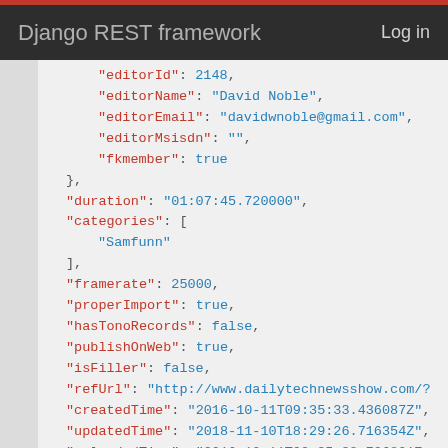Django REST framework   Log in
"editorId": 2148,
"editorName": "David Noble",
"editorEmail": "davidwnoble@gmail.com",
"editorMsisdn": "",
"fkmember": true
},
"duration": "01:07:45.720000",
"categories": [
    "Samfunn"
],
"framerate": 25000,
"properImport": true,
"hasTonoRecords": false,
"publishOnWeb": true,
"isFiller": false,
"refUrl": "http://www.dailytechnewsshow.com/?
"createdTime": "2016-10-11T09:35:33.436087Z",
"updatedTime": "2018-11-10T18:29:26.716354Z",
"uploadedTime": "2016-10-11T09:35:38.726801Z"
"ogvUrl": "https://upload.frikanalen.no/media
"largeThumbnailUrl": "https://upload.frikanal
},
{